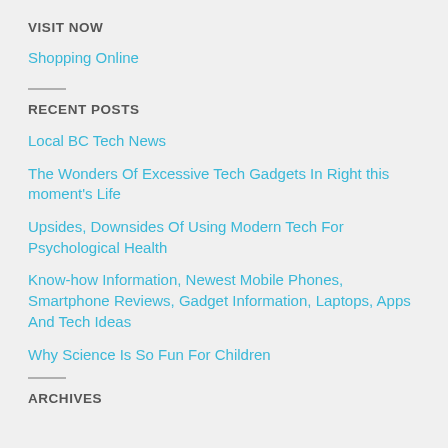VISIT NOW
Shopping Online
RECENT POSTS
Local BC Tech News
The Wonders Of Excessive Tech Gadgets In Right this moment's Life
Upsides, Downsides Of Using Modern Tech For Psychological Health
Know-how Information, Newest Mobile Phones, Smartphone Reviews, Gadget Information, Laptops, Apps And Tech Ideas
Why Science Is So Fun For Children
ARCHIVES